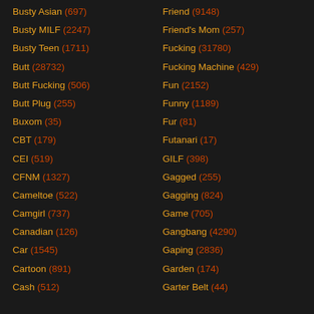Busty Asian (697)
Busty MILF (2247)
Busty Teen (1711)
Butt (28732)
Butt Fucking (506)
Butt Plug (255)
Buxom (35)
CBT (179)
CEI (519)
CFNM (1327)
Cameltoe (522)
Camgirl (737)
Canadian (126)
Car (1545)
Cartoon (891)
Cash (512)
Friend (9148)
Friend's Mom (257)
Fucking (31780)
Fucking Machine (429)
Fun (2152)
Funny (1189)
Fur (81)
Futanari (17)
GILF (398)
Gagged (255)
Gagging (824)
Game (705)
Gangbang (4290)
Gaping (2836)
Garden (174)
Garter Belt (44)